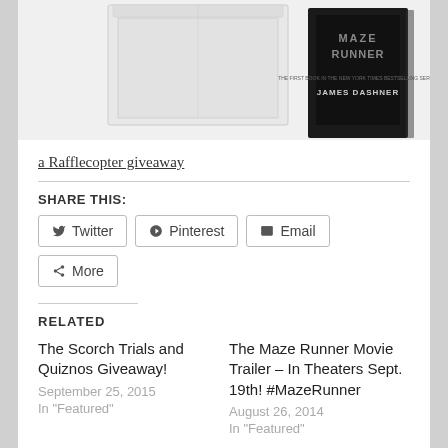[Figure (photo): Book cover image of The Maze Runner by James Dashner, and what appears to be a storage box in the top left portion]
a Rafflecopter giveaway
SHARE THIS:
Twitter  Pinterest  Email  More
RELATED
The Scorch Trials and Quiznos Giveaway!
September 25, 2015
In "Featured"
The Maze Runner Movie Trailer – In Theaters Sept. 19th! #MazeRunner
August 26, 2014
In "Featured"
Maze-O Starter Set – Fantastic STEM Toy: Review and Giveaway!